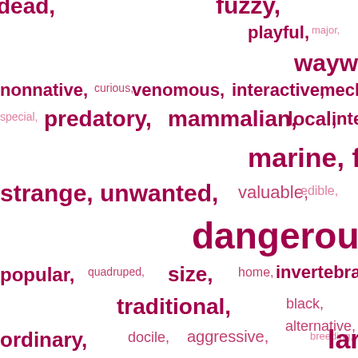[Figure (other): Word cloud featuring animal/creature descriptive terms in varying sizes and shades of pink/crimson. Words include: dead, fuzzy, playful, major, wayward, nonnative, curious, venomous, interactive, mechanical, special, predatory, mammalian, local, interesting, marine, free, strange, unwanted, valuable, edible, dangerous, popular, quadruped, size, home, invertebrate, traditional, black, alternative, ordinary, docile, aggressive, breeding, larger, sized, new, delicate, unrestrained, noisy, adult, cuddly, herbivorous, everyday, young]